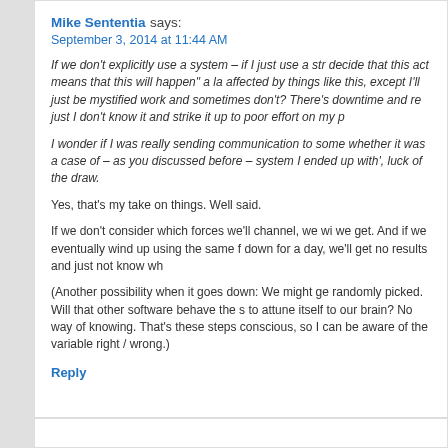Mike Sententia says:
September 3, 2014 at 11:44 AM
If we don't explicitly use a system – if I just use a str decide that this act means that this will happen" a la affected by things like this, except I'll just be mystified work and sometimes don't? There's downtime and re just I don't know it and strike it up to poor effort on my p
I wonder if I was really sending communication to some whether it was a case of – as you discussed before – system I ended up with', luck of the draw.
Yes, that's my take on things. Well said.
If we don't consider which forces we'll channel, we wi we get. And if we eventually wind up using the same f down for a day, we'll get no results and just not know wh
(Another possibility when it goes down: We might ge randomly picked. Will that other software behave the s to attune itself to our brain? No way of knowing. That's these steps conscious, so I can be aware of the variable right / wrong.)
Reply